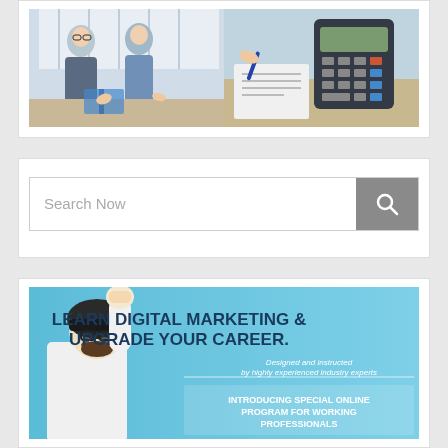[Figure (photo): Photo collage: left side shows two women in business attire at a meeting table; right side shows hands using a calculator with documents and coins]
[Figure (screenshot): Search bar widget with placeholder text 'Search Now' and a magnifying glass icon button]
[Figure (infographic): Advertisement banner with light blue background. Man in helmet raising fist. Text: 'LEARN DIGITAL MARKETING & UPGRADE YOUR CAREER.' Subtext: 'Designed and instructed by highly experienced industry experts'. Bottom text: 'INTRODUCING SPECIAL ONLINE PROGRAM FOR WORKING PROFESSIONALS']